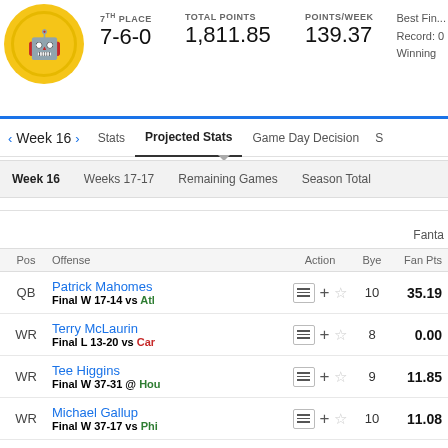7TH PLACE | TOTAL POINTS | POINTS/WEEK | Best Fin... | Record: 0 | Winning
7-6-0 | 1,811.85 | 139.37
< Week 16 > | Stats | Projected Stats | Game Day Decision | S...
| Week 16 | Weeks 17-17 | Remaining Games | Season Total |
| --- | --- | --- | --- |
Fanta
| Pos | Offense | Action | Bye | Fan Pts |
| --- | --- | --- | --- | --- |
| QB | Patrick Mahomes | Final W 17-14 vs Atl | + ☆ | 10 | 35.19 |
| WR | Terry McLaurin | Final L 13-20 vs Car | + ☆ | 8 | 0.00 |
| WR | Tee Higgins | Final W 37-31 @ Hou | + ☆ | 9 | 11.85 |
| WR | Michael Gallup | Final W 37-17 vs Phi | + ☆ | 10 | 11.08 |